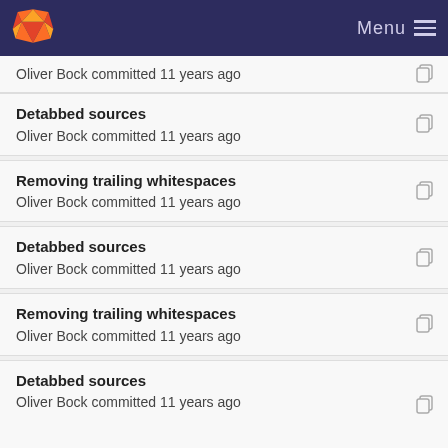GitLab — Menu
Oliver Bock committed 11 years ago
Detabbed sources
Oliver Bock committed 11 years ago
Removing trailing whitespaces
Oliver Bock committed 11 years ago
Detabbed sources
Oliver Bock committed 11 years ago
Removing trailing whitespaces
Oliver Bock committed 11 years ago
Detabbed sources
Oliver Bock committed 11 years ago
Removing trailing whitespaces
Oliver Bock committed 11 years ago
Detabbed sources